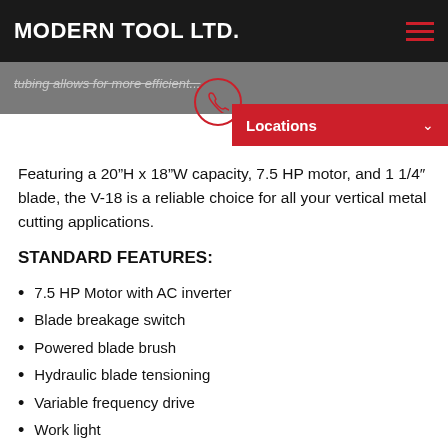MODERN TOOL LTD.
tubing allows for more efficient... (partially visible, struck through)
Featuring a 20"H x 18"W capacity, 7.5 HP motor, and 1 1/4" blade, the V-18 is a reliable choice for all your vertical metal cutting applications.
STANDARD FEATURES:
7.5 HP Motor with AC inverter
Blade breakage switch
Powered blade brush
Hydraulic blade tensioning
Variable frequency drive
Work light
Two hydraulic full stroke vises
Hydraulic head tilt
Hydraulic powered guide arm positioning
Flood coolant system
Direct down feed providing easy adjustment of both head... (partially visible)